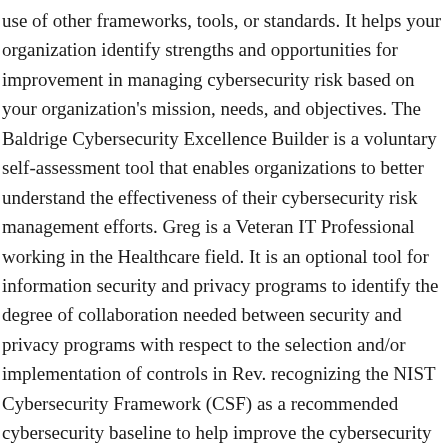use of other frameworks, tools, or standards. It helps your organization identify strengths and opportunities for improvement in managing cybersecurity risk based on your organization's mission, needs, and objectives. The Baldrige Cybersecurity Excellence Builder is a voluntary self-assessment tool that enables organizations to better understand the effectiveness of their cybersecurity risk management efforts. Greg is a Veteran IT Professional working in the Healthcare field. It is an optional tool for information security and privacy programs to identify the degree of collaboration needed between security and privacy programs with respect to the selection and/or implementation of controls in Rev. recognizing the NIST Cybersecurity Framework (CSF) as a recommended cybersecurity baseline to help improve the cybersecurity risk management and resilience of their systems. Framework for Improving Critical Infrastructure Cybersecurity, managed by NIST's Information Technology...